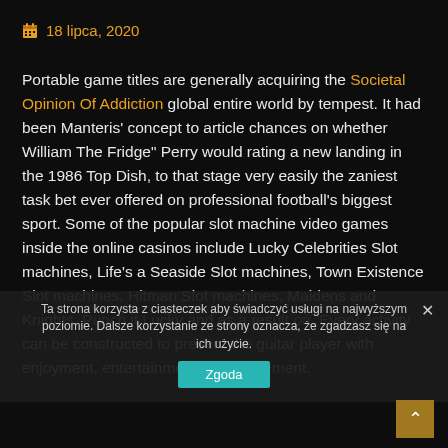18 lipca, 2020
Portable game titles are generally acquiring the Societal Opinion Of Addiction global entire world by tempest. It had been Manteris' concept to article chances on whether William The Fridge" Perry would rating a new landing in the 1986 Top Dish, to that stage very easily the zaniest task bet ever offered on professional football's biggest sport. Some of the popular slot machine video games inside the online casinos include Lucky Celebrities Slot machines, Life's a Seaside Slot machines, Town Existence Slot machines, Hitman Slot machines, Maidens and Knights, Punch it Lucky and as a result on. Every activity can be constructed to present the guitar player with enjoyment, entertainment and excitement.
Ta strona korzysta z ciasteczek aby świadczyć usługi na najwyższym poziomie. Dalsze korzystanie ze strony oznacza, że zgadzasz się na ich użycie.